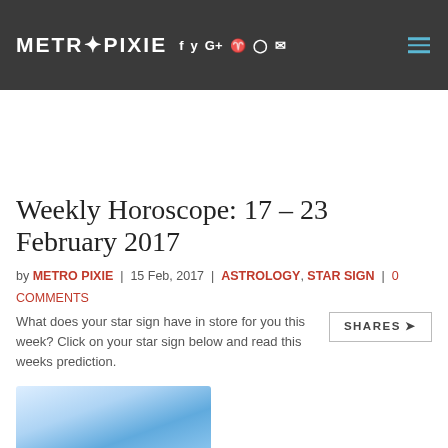METROPIXIE
Weekly Horoscope: 17 – 23 February 2017
by METRO PIXIE | 15 Feb, 2017 | ASTROLOGY, STAR SIGN | 0 COMMENTS
What does your star sign have in store for you this week? Click on your star sign below and read this weeks prediction.
[Figure (illustration): Watercolour-style blue illustration, partial view at bottom of page]